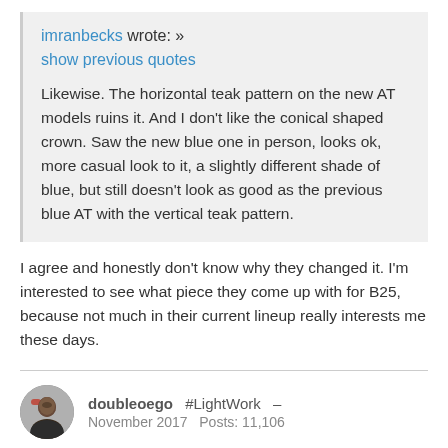imranbecks wrote: »
show previous quotes
Likewise. The horizontal teak pattern on the new AT models ruins it. And I don't like the conical shaped crown. Saw the new blue one in person, looks ok, more casual look to it, a slightly different shade of blue, but still doesn't look as good as the previous blue AT with the vertical teak pattern.
I agree and honestly don't know why they changed it. I'm interested to see what piece they come up with for B25, because not much in their current lineup really interests me these days.
doubleoego  #LightWork  –
November 2017   Posts: 11,106
They should just keep the Planet Ocean for Craig. The new AT